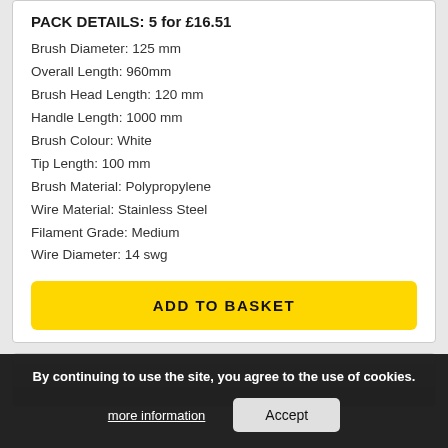PACK DETAILS: 5 for £16.51
Brush Diameter: 125 mm
Overall Length: 960mm
Brush Head Length: 120 mm
Handle Length: 1000 mm
Brush Colour: White
Tip Length: 100 mm
Brush Material: Polypropylene
Wire Material: Stainless Steel
Filament Grade: Medium
Wire Diameter: 14 swg
ADD TO BASKET
[Figure (screenshot): Bottom portion of a second product card partially visible]
By continuing to use the site, you agree to the use of cookies.
more information
Accept